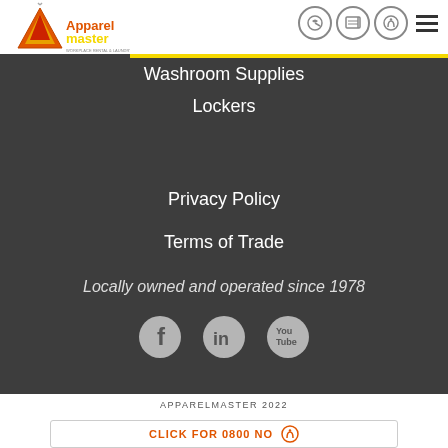[Figure (logo): Apparelmaster logo with triangle/mountain icon and text. Tagline: Workplace Rental & Laundry Solutions]
Washroom Supplies
Lockers
Privacy Policy
Terms of Trade
Locally owned and operated since 1978
[Figure (illustration): Social media icons: Facebook, LinkedIn, YouTube]
APPARELMASTER 2022
CLICK FOR 0800 NO